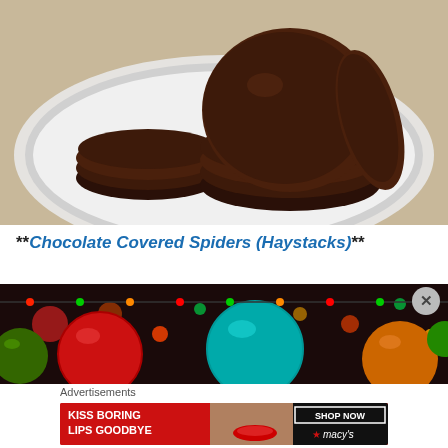[Figure (photo): Chocolate covered cookies (peppermint patties or thin mint style) stacked on a white plate, dark brown chocolate coating visible]
**Chocolate Covered Spiders (Haystacks)**
[Figure (photo): Christmas ornaments — red, teal/turquoise, green, orange metallic balls with colorful string lights in the background, blurred bokeh style]
Advertisements
[Figure (infographic): Macy's advertisement banner: 'KISS BORING LIPS GOODBYE' with SHOP NOW button and Macy's logo star]